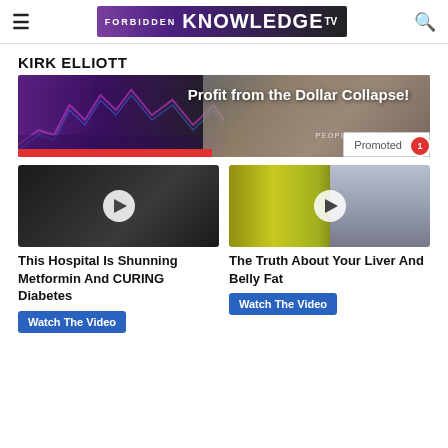FORBIDDEN KNOWLEDGE TV
KIRK ELLIOTT
[Figure (screenshot): Banner ad for 'Profit from the Dollar Collapse!' with stock chart graphics and a face in the background, showing a 'Promoted' label and red bar at bottom.]
[Figure (photo): Thumbnail image of dark coal-like rocks with a play button overlay]
[Figure (photo): Thumbnail image of yellow oil/substance in a bowl with a woman in white coat and play button overlay]
This Hospital Is Shunning Metformin And CURING Diabetes
Watch The Video
The Truth About Your Liver And Belly Fat
Watch The Video